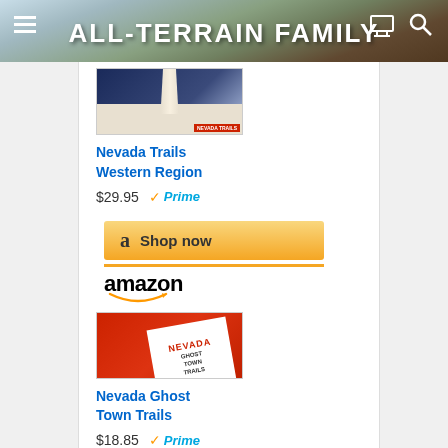ALL-TERRAIN FAMILY
[Figure (photo): Book cover of Nevada Trails Western Region — blue sky with obelisk monument]
Nevada Trails Western Region
$29.95 Prime
[Figure (screenshot): Amazon Shop now button with amazon logo below]
[Figure (photo): Book cover of Nevada Ghost Town Trails — red cover with white diamond shape]
Nevada Ghost Town Trails
$18.85 Prime